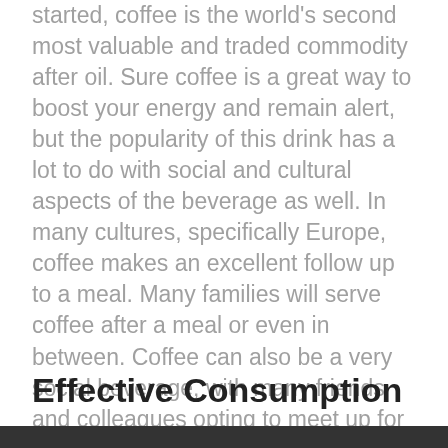started, coffee is the world's second most valuable and traded commodity after oil. Sure coffee is a great way to boost your energy and remain alert, but the popularity of this drink has a lot to do with social and cultural aspects of the beverage as well. In many cultures, specifically Europe, coffee makes an excellent follow up to a meal. Many families will serve coffee after a meal or even in between. Coffee can also be a very social beverage, with many friends and colleagues opting to meet up for coffee rather than drinks at a bar or dinner. Coffee is so immersed in everyday life it is hard to imagine life without it. That's likely why you're searching coffee shop near me.
Effective Consumption